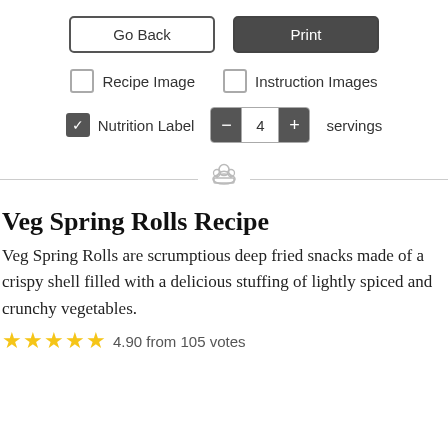Go Back | Print
Recipe Image | Instruction Images
Nutrition Label — 4 servings
[Figure (illustration): Chef hat icon used as a section divider]
Veg Spring Rolls Recipe
Veg Spring Rolls are scrumptious deep fried snacks made of a crispy shell filled with a delicious stuffing of lightly spiced and crunchy vegetables.
4.90 from 105 votes